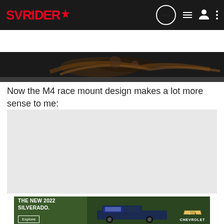SVRIDER
[Figure (screenshot): Dark navigation bar with SVRIDER logo, NEW chat icon, list icon, user icon, and dots menu]
[Figure (screenshot): Search bar with 'Search Community' placeholder and search icon]
[Figure (photo): Partial photo showing dark metallic mechanical parts, likely motorcycle exhaust or engine components]
Now the M4 race mount design makes a lot more sense to me:
[Figure (photo): Large light gray image placeholder area for an embedded photo]
[Figure (photo): Advertisement banner for The New 2022 Silverado by Chevrolet with Explore button and truck image]